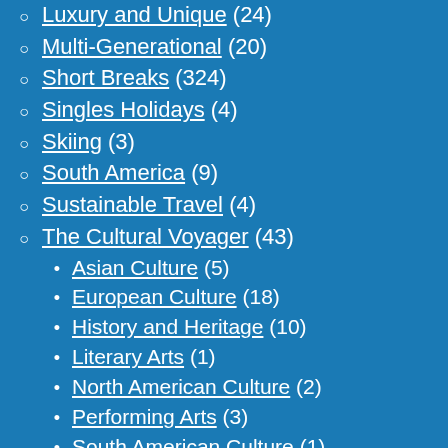Luxury and Unique (24)
Multi-Generational (20)
Short Breaks (324)
Singles Holidays (4)
Skiing (3)
South America (9)
Sustainable Travel (4)
The Cultural Voyager (43)
Asian Culture (5)
European Culture (18)
History and Heritage (10)
Literary Arts (1)
North American Culture (2)
Performing Arts (3)
South American Culture (1)
UK Culture (19)
Visual Arts (9)